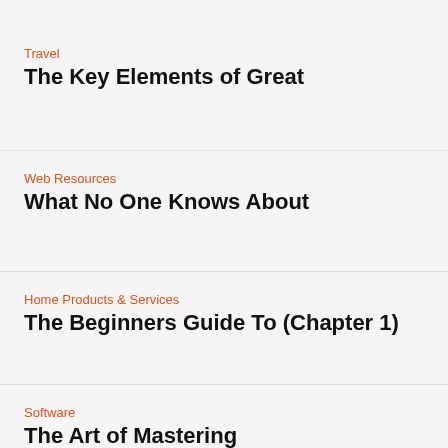Travel
The Key Elements of Great
Web Resources
What No One Knows About
Home Products & Services
The Beginners Guide To (Chapter 1)
Software
The Art of Mastering